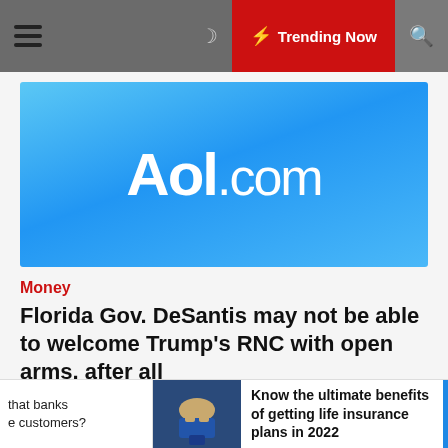≡  🌙  ⚡ Trending Now  🔍
[Figure (logo): AOL.com logo on blue gradient background]
Money
Florida Gov. DeSantis may not be able to welcome Trump's RNC with open arms, after all
dhita yudha   🕐 2 years ago
... Read More
that banks e customers?   Know the ultimate benefits of getting life insurance plans in 2022